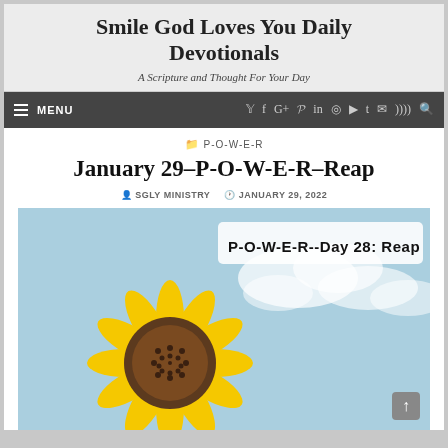Smile God Loves You Daily Devotionals
A Scripture and Thought For Your Day
MENU | social icons navigation bar
P-O-W-E-R
January 29–P-O-W-E-R–Reap
SGLY MINISTRY   JANUARY 29, 2022
[Figure (photo): Sunflower with blue sky background, overlaid with text 'P-O-W-E-R--Day 28: Reap' in bold black font on white background]